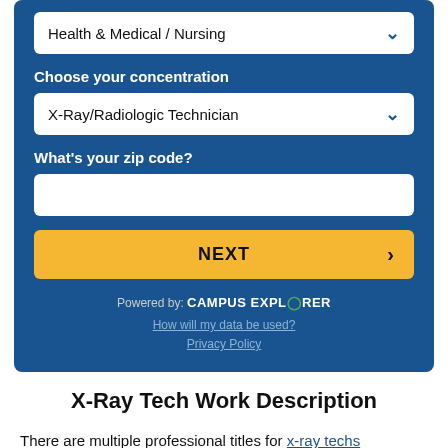[Figure (screenshot): Blue form panel with dropdowns for Health & Medical / Nursing and X-Ray/Radiologic Technician, zip code input field, NEXT button, and Campus Explorer branding with links]
X-Ray Tech Work Description
There are multiple professional titles for x-ray techs (technicians or technologists). They can also be called